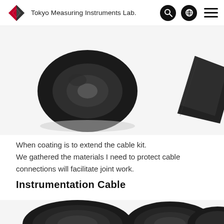Tokyo Measuring Instruments Lab.
[Figure (photo): Black tape roll and unrolled tape sheet — cable kit materials]
When coating is to extend the cable kit.
We gathered the materials I need to protect cable connections will facilitate joint work.
Instrumentation Cable
[Figure (photo): Multiple coiled black instrumentation cables of varying sizes]